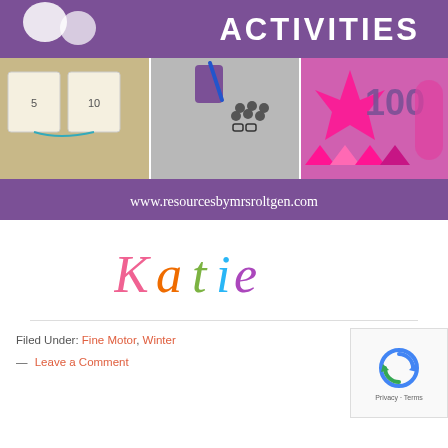[Figure (illustration): Purple banner with hand/activity icons and the word ACTIVITIES in white text on purple background, three educational activity photos below (finger counting hands cards, crafting materials, 100 day celebration items), and website URL www.resourcesbymrsroltgen.com on purple bar at bottom]
[Figure (illustration): Handwritten-style colorful signature 'Katie' in script font with each letter in a different color (pink, orange, green, blue, purple)]
Filed Under: Fine Motor, Winter
— Leave a Comment